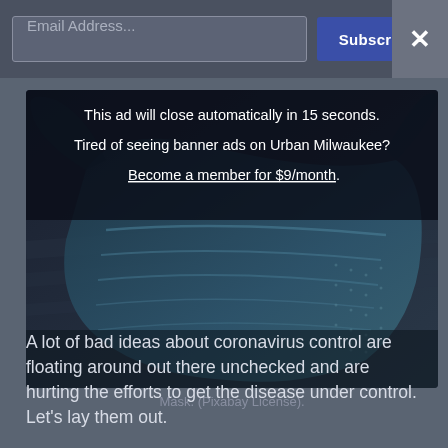Email Address... [Subscribe] [X]
This ad will close automatically in 15 seconds.
Tired of seeing banner ads on Urban Milwaukee?
Become a member for $9/month.
[Figure (photo): Close-up photograph of a blue disposable face mask against a dark background]
Mask. (Pixabay License).
A lot of bad ideas about coronavirus control are floating around out there unchecked and are hurting the efforts to get the disease under control. Let's lay them out.